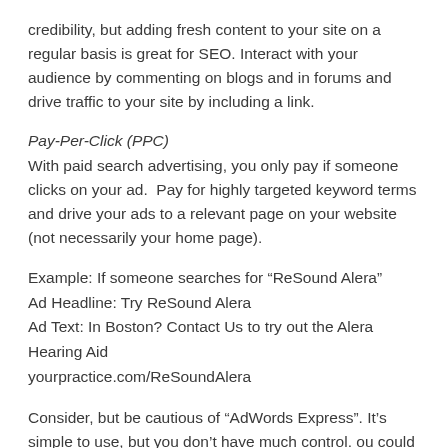credibility, but adding fresh content to your site on a regular basis is great for SEO. Interact with your audience by commenting on blogs and in forums and drive traffic to your site by including a link.
Pay-Per-Click (PPC)
With paid search advertising, you only pay if someone clicks on your ad.  Pay for highly targeted keyword terms and drive your ads to a relevant page on your website (not necessarily your home page).
Example: If someone searches for "ReSound Alera"
Ad Headline: Try ReSound Alera
Ad Text: In Boston? Contact Us to try out the Alera Hearing Aid
yourpractice.com/ReSoundAlera
Consider, but be cautious of "AdWords Express". It’s simple to use, but you don’t have much control. ou could end up paying to have your listing pulled from the free local search results (prime placement) and places in the lower part of the right column (poor